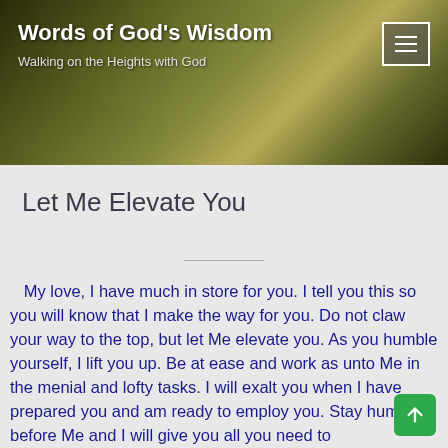Words of God's Wisdom — Walking on the Heights with God
Let Me Elevate You
My love, I have much in store for you. I tell you this so you will know that I make the way for you. Do not claw your way to the top, but let Me elevate you. As you humble yourself, I lift you up. Be at ease and work as unto Me in the menial and lofty tasks. I will exalt you when I have prepared you and am ready to employ you. Stay humbled before Me and I will give you all you need to